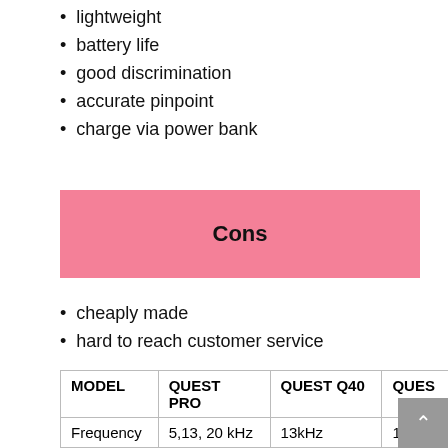lightweight
battery life
good discrimination
accurate pinpoint
charge via power bank
Cons
cheaply made
hard to reach customer service
| MODEL | QUEST PRO | QUEST Q40 | QUES |
| --- | --- | --- | --- |
| Frequency | 5,13, 20 kHz | 13kHz | 13kHz |